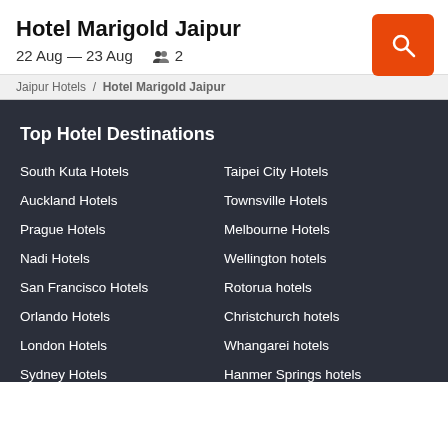Hotel Marigold Jaipur
22 Aug — 23 Aug   2
Jaipur Hotels > Hotel Marigold Jaipur
Top Hotel Destinations
South Kuta Hotels
Taipei City Hotels
Auckland Hotels
Townsville Hotels
Prague Hotels
Melbourne Hotels
Nadi Hotels
Wellington hotels
San Francisco Hotels
Rotorua hotels
Orlando Hotels
Christchurch hotels
London Hotels
Whangarei hotels
Sydney Hotels
Hanmer Springs hotels
Taupo Hotels
New Plymouth hotels
Picton Hotels